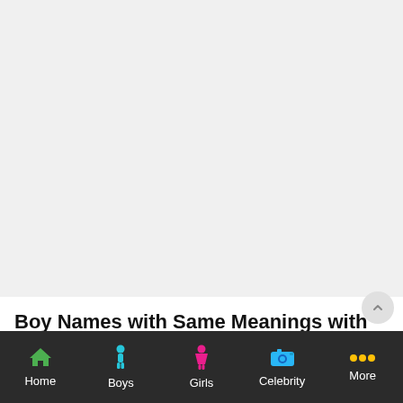Boy Names with Same Meanings with Mriganka
| Name | Meaning |
| --- | --- |
Home  Boys  Girls  Celebrity  More